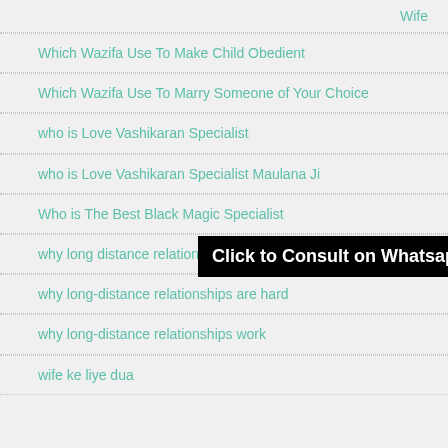Wife
Which Wazifa Use To Make Child Obedient
Which Wazifa Use To Marry Someone of Your Choice
who is Love Vashikaran Specialist
who is Love Vashikaran Specialist Maulana Ji
Who is The Best Black Magic Specialist
why long distance relationships don't work
why long-distance relationships are hard
why long-distance relationships work
wife ke liye dua
[Figure (other): Black banner with white bold text: Click to Consult on Whatsapp]